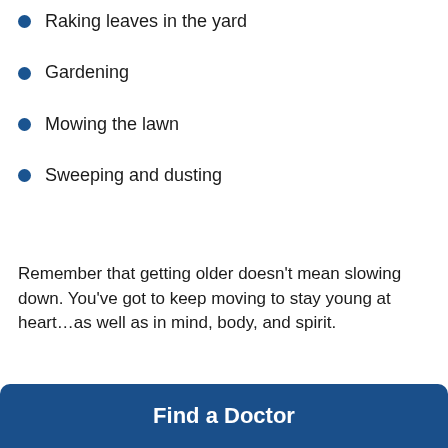Raking leaves in the yard
Gardening
Mowing the lawn
Sweeping and dusting
Remember that getting older doesn't mean slowing down. You've got to keep moving to stay young at heart…as well as in mind, body, and spirit.
Find a Doctor